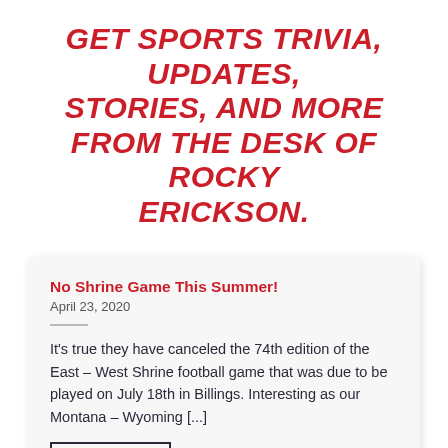GET SPORTS TRIVIA, UPDATES, STORIES, AND MORE FROM THE DESK OF ROCKY ERICKSON.
No Shrine Game This Summer!
April 23, 2020
It’s true they have canceled the 74th edition of the East – West Shrine football game that was due to be played on July 18th in Billings. Interesting as our Montana – Wyoming [...]
READ POST +